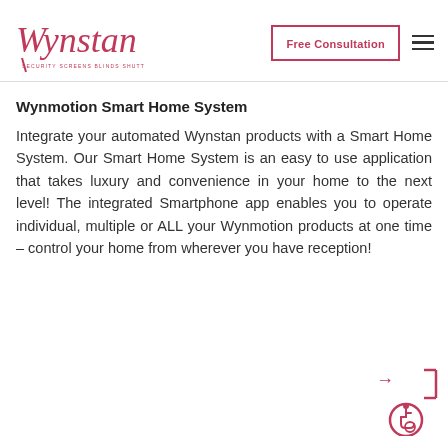[Figure (logo): Wynstan logo in pink/red cursive script with tagline: SECURITY SCREENS BLINDS SHUTTERS AWNINGS]
[Figure (other): Free Consultation button with pink border and hamburger menu icon]
Wynmotion Smart Home System
Integrate your automated Wynstan products with a Smart Home System. Our Smart Home System is an easy to use application that takes luxury and convenience in your home to the next level! The integrated Smartphone app enables you to operate individual, multiple or ALL your Wynmotion products at one time – control your home from wherever you have reception!
[Figure (other): Arrow pointing right with bracket and accessibility wheelchair icon in pink circle]